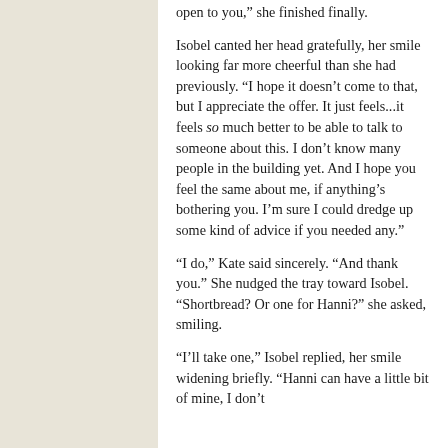open to you," she finished finally.
Isobel canted her head gratefully, her smile looking far more cheerful than she had previously. "I hope it doesn't come to that, but I appreciate the offer. It just feels...it feels so much better to be able to talk to someone about this. I don't know many people in the building yet. And I hope you feel the same about me, if anything's bothering you. I'm sure I could dredge up some kind of advice if you needed any."
“I do,” Kate said sincerely. “And thank you.” She nudged the tray toward Isobel. “Shortbread? Or one for Hanni?” she asked, smiling.
"I'll take one," Isobel replied, her smile widening briefly. "Hanni can have a little bit of mine, I don't want his filling to go to waste.